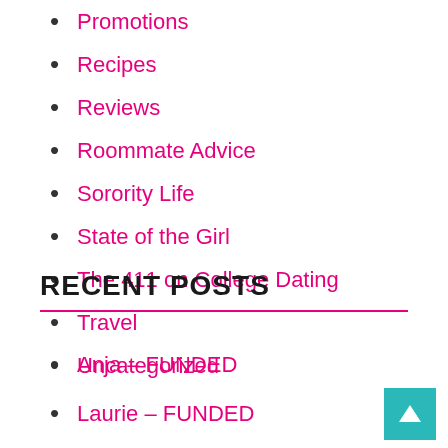Promotions
Recipes
Reviews
Roommate Advice
Sorority Life
State of the Girl
The 411 on College Dating
Travel
Uncategorized
RECENT POSTS
Anja – FUNDED
Laurie – FUNDED
Alexis – FUNDED